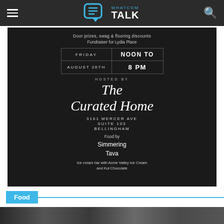Whatcom TALK — website header with hamburger menu and search icon
[Figure (infographic): Dark event card for The Curated Home open house event. Text reads: Door prizes, swag & flooring discounts. Fundraiser for Lydia Place. FRIDAY | NOON TO / AUGUST 26TH | 8 PM. HOSTED BY The Curated Home. 3161 MERCER AVE. SUITE 103. BELLINGHAM. Food by Simmering Tava. Ice cream bar with Acme Valley Ice Cream and Kul Chocolate.]
Food
[Figure (photo): Bottom strip of a food photo, partially cut off at bottom of page.]